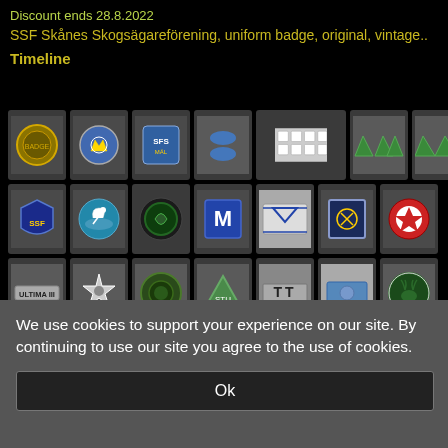Discount ends 28.8.2022
SSF Skånes Skogsägareförening, uniform badge, original, vintage..
Timeline
[Figure (photo): Grid of vintage uniform badge photos arranged in 4 rows of 7 badges each, showing various Swedish organizational badges and pins on dark backgrounds]
We use cookies to support your experience on our site. By continuing to use our site you agree to the use of cookies.